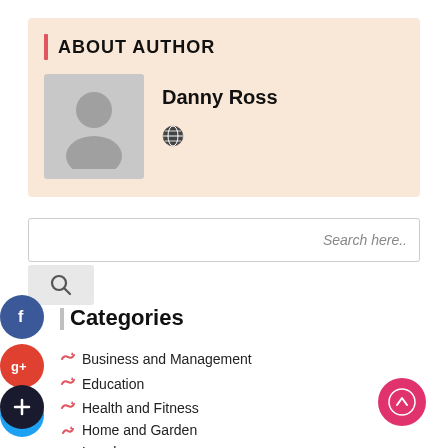ABOUT AUTHOR
Danny Ross
[Figure (illustration): Grey placeholder avatar silhouette on grey background]
[Figure (illustration): Globe/website icon]
Search here..
[Figure (illustration): Search magnifying glass icon button]
[Figure (illustration): Facebook social icon button (blue circle with f)]
[Figure (illustration): Google+ social icon button (red circle with g+)]
[Figure (illustration): Twitter social icon button (blue circle with bird)]
[Figure (illustration): Add/plus social icon button (dark circle with +)]
Categories
Business and Management
Education
Health and Fitness
Home and Garden
Legal
[Figure (illustration): Scroll to top button - pink circle with upward arrow]